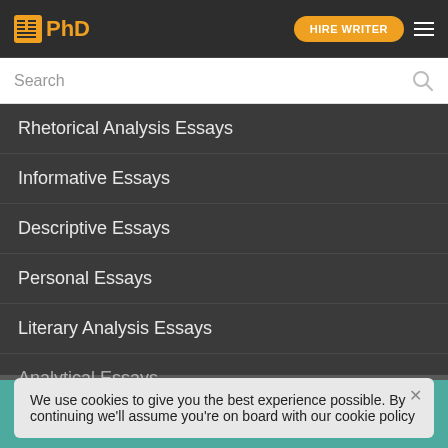PhD | HIRE WRITER
Search
Rhetorical Analysis Essays
Informative Essays
Descriptive Essays
Personal Essays
Literary Analysis Essays
Analytical Essays
Research Essays (partially obscured)
Cause And Effect Essays
We use cookies to give you the best experience possible. By continuing we'll assume you're on board with our cookie policy
HIRE WRITER